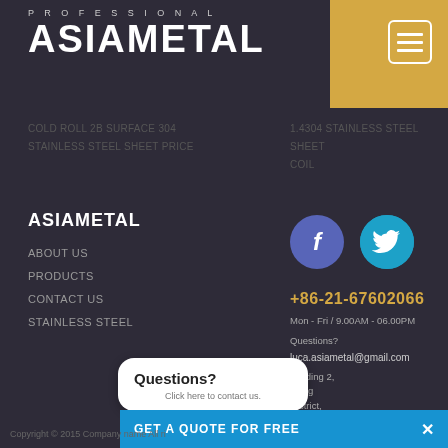PROFESSIONAL ASIAMETAL
COLD ROLL 2B SURFACE 304 STAINLESS STEEL SHEET PRICE
1.4304 STAINLESS STEEL SHEET COIL
ASIAMETAL
ABOUT US
PRODUCTS
CONTACT US
STAINLESS STEEL
[Figure (illustration): Facebook circle icon (purple/blue) and Twitter circle icon (cyan)]
+86-21-67602066
Mon - Fri / 9.00AM - 06.00PM
Questions?
luca.asiametal@gmail.com
Building 2, Sijing District, Shanghai, China.
Questions? Click here to contact us.
GET A QUOTE FOR FREE  ×
Copyright © 2015 Company name All ri